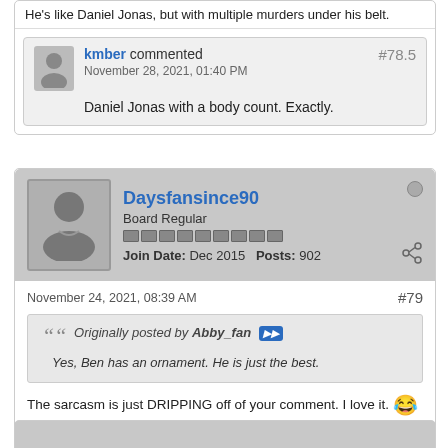He's like Daniel Jonas, but with multiple murders under his belt.
kmber commented #78.5 November 28, 2021, 01:40 PM
Daniel Jonas with a body count. Exactly.
Daysfansince90 Board Regular Join Date: Dec 2015  Posts: 902
November 24, 2021, 08:39 AM #79
Originally posted by Abby_fan
Yes, Ben has an ornament. He is just the best.
The sarcasm is just DRIPPING off of your comment. I love it.